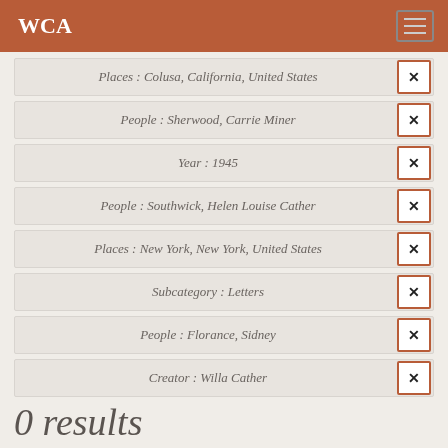WCA
Places : Colusa, California, United States
People : Sherwood, Carrie Miner
Year : 1945
People : Southwick, Helen Louise Cather
Places : New York, New York, United States
Subcategory : Letters
People : Florance, Sidney
Creator : Willa Cather
0 results